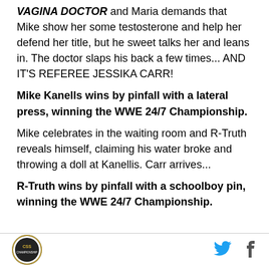VAGINA DOCTOR and Maria demands that Mike show her some testosterone and help her defend her title, but he sweet talks her and leans in. The doctor slaps his back a few times... AND IT'S REFEREE JESSIKA CARR!
Mike Kanells wins by pinfall with a lateral press, winning the WWE 24/7 Championship.
Mike celebrates in the waiting room and R-Truth reveals himself, claiming his water broke and throwing a doll at Kanellis. Carr arrives...
R-Truth wins by pinfall with a schoolboy pin, winning the WWE 24/7 Championship.
[Figure (logo): Circular CSS logo badge]